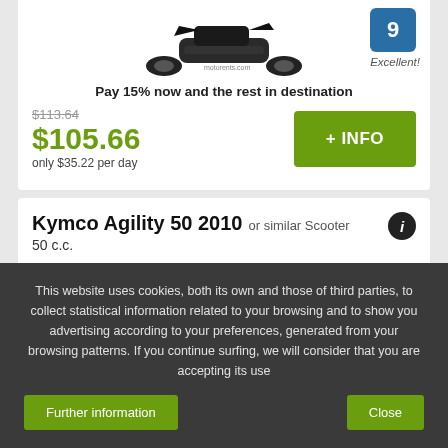[Figure (photo): Partial view of a motorcycle/scooter from above]
Pay 15% now and the rest in destination
9 Excellent!
$113.64
$105.66
only $35.22 per day
+ INFO
Kymco Agility 50 2010 or similar Scooter
50 c.c.
Campo de Fiori - Piazza Navona - City Center
This website uses cookies, both its own and those of third parties, to collect statistical information related to your browsing and to show you advertising according to your preferences, generated from your browsing patterns. If you continue surfing, we will consider that you are accepting its use
Further information
Close